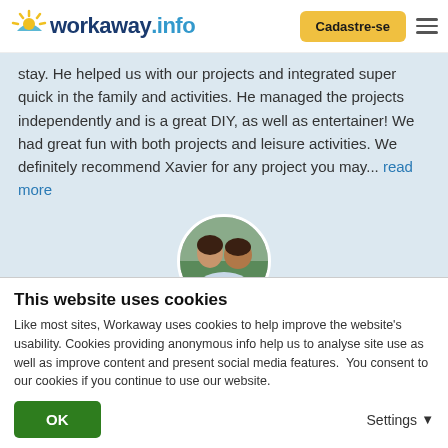[Figure (logo): Workaway.info logo with sun icon on the left and Cadastre-se button and hamburger menu on the right]
stay. He helped us with our projects and integrated super quick in the family and activities. He managed the projects independently and is a great DIY, as well as entertainer! We had great fun with both projects and leisure activities. We definitely recommend Xavier for any project you may... read more
[Figure (photo): Circular profile photo of a couple smiling together]
[Figure (other): Five gold stars rating]
(Excelente )
This website uses cookies
Like most sites, Workaway uses cookies to help improve the website's usability. Cookies providing anonymous info help us to analyse site use as well as improve content and present social media features.  You consent to our cookies if you continue to use our website.
OK
Settings